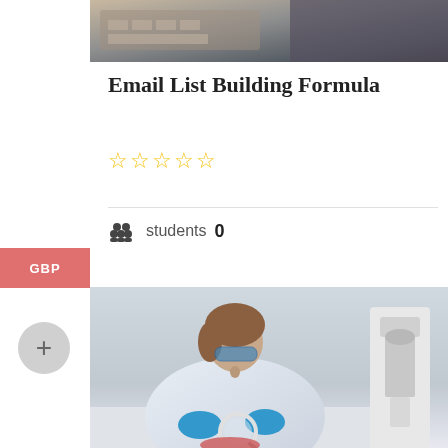[Figure (photo): Laptop and desk top-down photo strip at top of page]
Email List Building Formula
[Figure (other): Five yellow star rating (empty/outline stars)]
students 0
[Figure (photo): Scientist in white lab coat and blue safety glasses looking through a magnifying glass at a sample, with a microscope visible on the right]